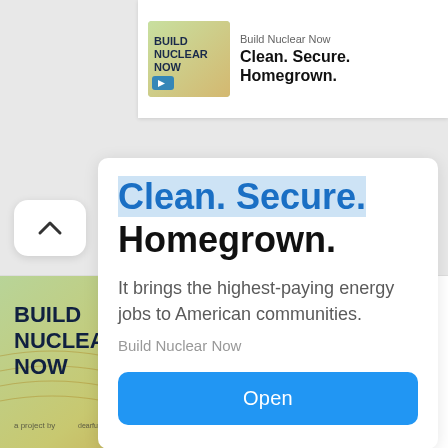[Figure (screenshot): Top right small banner ad showing 'Build Nuclear Now' with logo thumbnail and text: 'Build Nuclear Now / Clean. Secure. Homegrown.']
[Figure (screenshot): Expanded popup ad card showing highlighted blue text 'Clean. Secure.' and dark bold 'Homegrown.' with body text 'It brings the highest-paying energy jobs to American communities.' and brand name 'Build Nuclear Now' and a blue 'Open' button]
[Figure (screenshot): Bottom banner ad showing 'Build Nuclear Now' logo image on left, and on right: 'Clean. Secure. Homegrown.' in bold, 'Build Nuclear Now' brand name, and a dark 'Open' button]